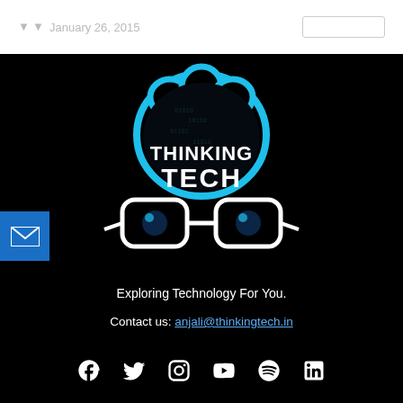January 26, 2015
[Figure (logo): Thinking Tech logo — a stylized brain outline in cyan/blue with white text 'THINKING TECH' and white-framed glasses with blue lenses below, on a black background.]
Exploring Technology For You.
Contact us: anjali@thinkingtech.in
[Figure (infographic): Social media icons row: Facebook, Twitter, Instagram, YouTube, Spotify, LinkedIn — all white on black background.]